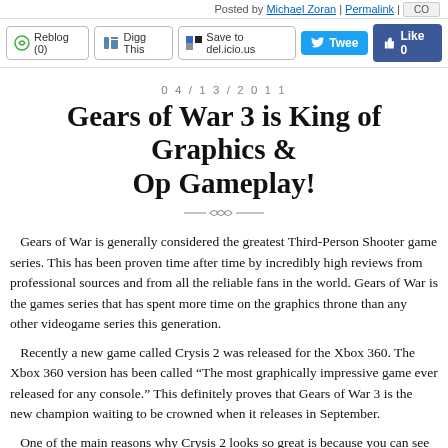Posted by Michael Zoran | Permalink | CO...
[Figure (screenshot): Social sharing toolbar with Reblog (0), Digg This, Save to del.icio.us, Tweet, and Like 0 buttons]
04/13/2011
Gears of War 3 is King of Graphics & Co-Op Gameplay!
Gears of War is generally considered the greatest Third-Person Shooter game series. This has been proven time after time by incredibly high reviews from professional sources and from all the reliable fans in the world. Gears of War is the games series that has spent more time on the graphics throne than any other videogame series this generation.
Recently a new game called Crysis 2 was released for the Xbox 360. The Xbox 360 version has been called “The most graphically impressive game ever released for any console.” This definitely proves that Gears of War 3 is the new champion waiting to be crowned when it releases in September.
One of the main reasons why Crysis 2 looks so great is because you can see so far in